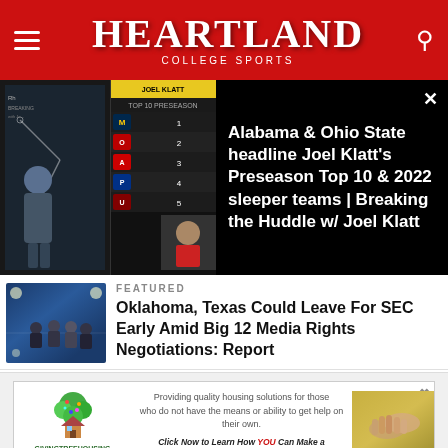Heartland College Sports
[Figure (screenshot): Video thumbnail showing Joel Klatt's Preseason Top 10 scoreboard panel and a broadcast host, with text overlay about Alabama & Ohio State]
Alabama & Ohio State headline Joel Klatt's Preseason Top 10 & 2022 sleeper teams | Breaking the Huddle w/ Joel Klatt
FEATURED
[Figure (photo): Football players on field, night game]
Oklahoma, Texas Could Leave For SEC Early Amid Big 12 Media Rights Negotiations: Report
[Figure (infographic): Giving Tree Housing advertisement banner: tree logo, text about providing quality housing solutions, click to learn more, hands photo]